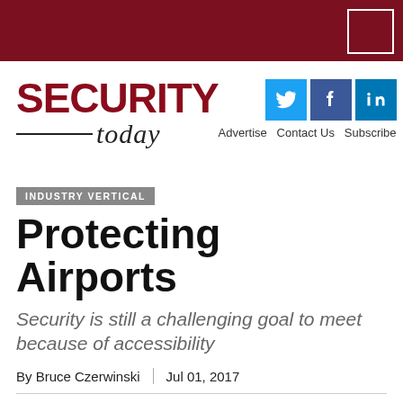Security Today - header bar with logo box
[Figure (logo): Security Today magazine logo with social media icons (Twitter, Facebook, LinkedIn) and navigation links: Advertise, Contact Us, Subscribe]
INDUSTRY VERTICAL
Protecting Airports
Security is still a challenging goal to meet because of accessibility
By Bruce Czerwinski | Jul 01, 2017